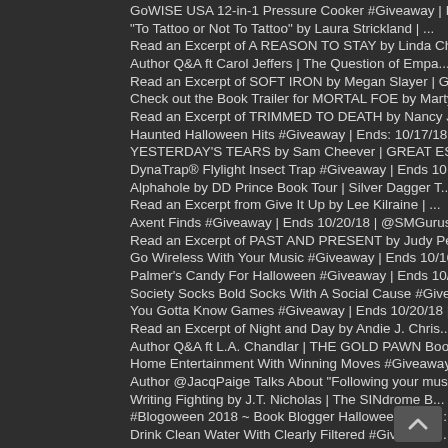GoWISE USA 12-in-1 Pressure Cooker #Giveaway | End...
"To Tattoo or Not To Tattoo" by Laura Strickland | ...
Read an Excerpt of A REASON TO STAY by Linda Charl...
Author Q&A ft Carol Jeffers | The Question of Empa...
Read an Excerpt of SOFT IRON by Megan Slayer | God...
Check out the Book Trailer for MORTAL FOE by Marty...
Read an Excerpt of TRIMMED TO DEATH by Nancy J. Co...
Haunted Halloween Hits #Giveaway | Ends: 10/17/18 ...
YESTERDAY'S TEARS by Sam Cheever | GREAT ESCAPES B...
DynaTrap® Flylight Insect Trap #Giveaway | Ends 10...
Alphahole by DD Prince Book Tour | Silver Dagger T...
Read an Excerpt from Give It Up by Lee Kilraine | ...
Axent Finds #Giveaway | Ends 10/20/18 | @SMGurusNe...
Read an Excerpt of PAST AND PRESENT by Judy Penz S...
Go Wireless With Your Music #Giveaway | Ends 10/16...
Palmer's Candy For Halloween #Giveaway | Ends 10/1...
Society Socks Bold Socks With A Social Cause #Give...
You Gotta Know Games #Giveaway | Ends 10/20/18 | @...
Read an Excerpt of Night and Day by Andie J. Chris...
Author Q&A ft L.A. Chandlar | THE GOLD PAWN Book T...
Home Entertainment With Winning Moves #Giveaway | ...
Author @JacqPaige Talks About "Following your muse...
Writing Fighting by J.T. Nicholas | The SINdrome B...
#Blogoween 2018 ~ Book Blogger Halloween Event :: ...
Drink Clean Water With Clearly Filtered #Giveaway ...
Feel First Class Everytime You Travel #Giveaway | ...
Read an Excerpt of My Father's Gift by Sixtus Z. A...
#FallBreak2018 #Giveaway Hop | September 21 - O